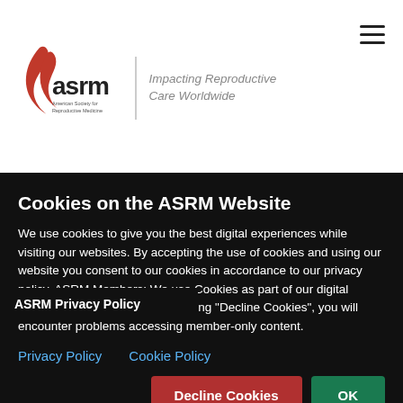[Figure (logo): ASRM logo with red flame/leaf graphic and text 'asrm American Society for Reproductive Medicine', with tagline 'Impacting Reproductive Care Worldwide']
parties whose products or services the ASRM feels are consistent with the ASRM's policies and practice standards and may be of interest to you.  While many of the ASRM's rs of the Website find these mail or email ble, if you prefer not to have your
ASRM Privacy Policy
Cookies on the ASRM Website
We use cookies to give you the best digital experiences while visiting our websites. By accepting the use of cookies and using our website you consent to our cookies in accordance to our privacy policy. ASRM Members: We use Cookies as part of our digital membership experience. By clicking "Decline Cookies", you will encounter problems accessing member-only content.
Privacy Policy   Cookie Policy
Decline Cookies   OK